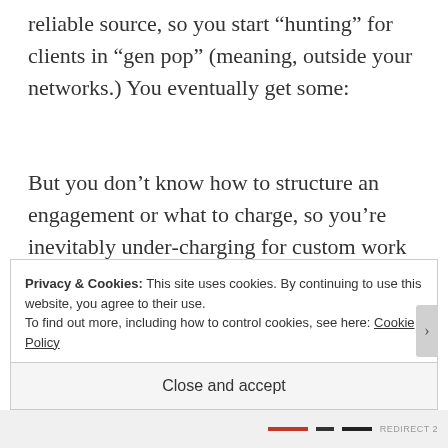reliable source, so you start “hunting” for clients in “gen pop” (meaning, outside your networks.) You eventually get some:

But you don’t know how to structure an engagement or what to charge, so you’re inevitably under-charging for custom work that requires long hours.
Privacy & Cookies: This site uses cookies. By continuing to use this website, you agree to their use.
To find out more, including how to control cookies, see here: Cookie Policy
Close and accept